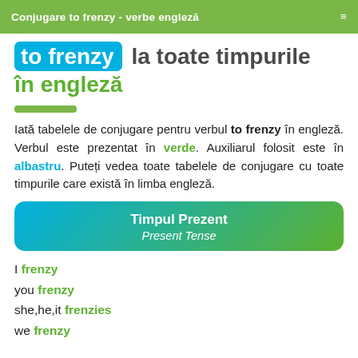Conjugare to frenzy - verbe engleză
to frenzy la toate timpurile în engleză
Iată tabelele de conjugare pentru verbul to frenzy în engleză. Verbul este prezentat în verde. Auxiliarul folosit este în albastru. Puteți vedea toate tabelele de conjugare cu toate timpurile care există în limba engleză.
Timpul Prezent / Present Tense
I frenzy
you frenzy
she,he,it frenzies
we frenzy